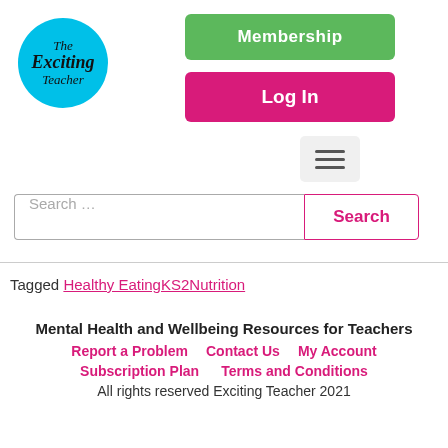[Figure (logo): The Exciting Teacher circular logo with blue background]
Membership
Log In
[Figure (other): Hamburger menu icon button]
Search ...
Search
Tagged Healthy EatingKS2Nutrition
Mental Health and Wellbeing Resources for Teachers
Report a Problem   Contact Us   My Account
Subscription Plan   Terms and Conditions
All rights reserved Exciting Teacher 2021